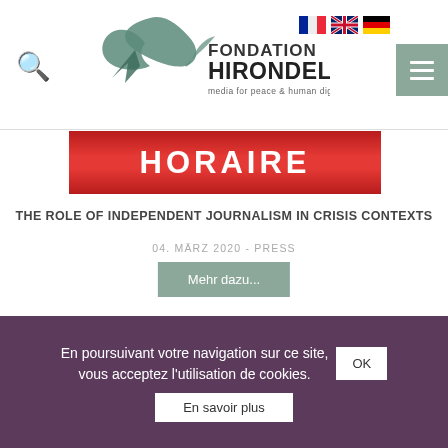[Figure (logo): Fondation Hirondelle logo with swift bird graphic and text 'FONDATION HIRONDELLE media for peace & human dignity']
[Figure (screenshot): Red gradient banner with bold white text 'HORAIRE' in uppercase]
THE ROLE OF INDEPENDENT JOURNALISM IN CRISIS CONTEXTS
04. MÄRZ 2020 - PRESS
Mehr dazu...
[Figure (photo): Dark/black rectangular image, partially visible, likely next article thumbnail]
En poursuivant votre navigation sur ce site, vous acceptez l'utilisation de cookies. OK
En savoir plus